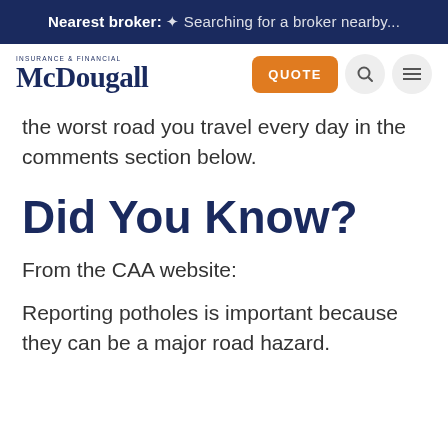Nearest broker: Searching for a broker nearby...
[Figure (logo): McDougall Insurance & Financial logo with orange QUOTE button, search icon, and hamburger menu icon]
the worst road you travel every day in the comments section below.
Did You Know?
From the CAA website:
Reporting potholes is important because they can be a major road hazard.